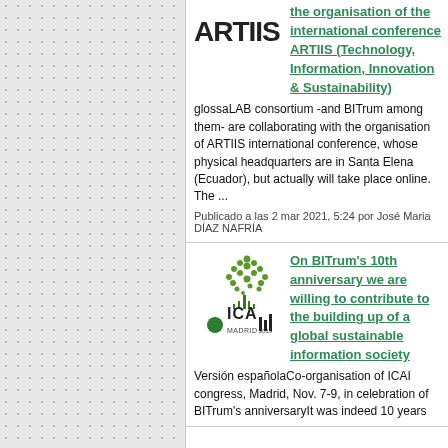[Figure (illustration): Left panel with decorative dot/grid pattern background in gray tones]
[Figure (logo): ARTIIS logo in bold black text]
the organisation of the international conference ARTIIS (Technology, Information, Innovation & Sustainability)
glossaLAB consortium -and BITrum among them- are collaborating with the organisation of ARTIIS international conference, whose physical headquarters are in Santa Elena (Ecuador), but actually will take place online. The ...
Publicado a las 2 mar 2021, 5:24 por José Maria DÍAZ NAFRÍA
[Figure (logo): ICA Madrid 2019 logo with green tree and text]
On BITrum's 10th anniversary we are willing to contribute to the building up of a global sustainable information society
Versión españolaCo-organisation of ICAI congress, Madrid, Nov. 7-9, in celebration of BITrum's anniversaryIt was indeed 10 years